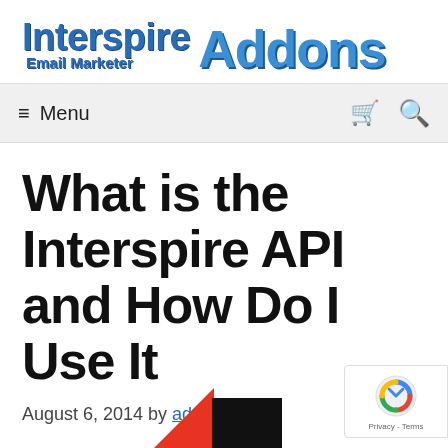[Figure (logo): Interspire Email Marketer Addons logo with blue text]
≡ Menu
What is the Interspire API and How Do I Use It
August 6, 2014 by admin
[Figure (other): Partial image with red triangle and black rectangle at bottom of page]
[Figure (other): reCAPTCHA badge with Privacy - Terms text]